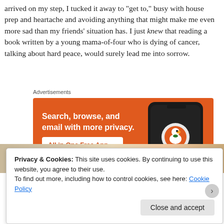arrived on my step, I tucked it away to "get to," busy with house prep and heartache and avoiding anything that might make me even more sad than my friends' situation has. I just knew that reading a book written by a young mama-of-four who is dying of cancer, talking about hard peace, would surely lead me into sorrow.
Advertisements
[Figure (screenshot): DuckDuckGo advertisement banner with orange background. Text reads 'Search, browse, and email with more privacy. All in One Free App' with a smartphone displaying the DuckDuckGo logo.]
Privacy & Cookies: This site uses cookies. By continuing to use this website, you agree to their use.
To find out more, including how to control cookies, see here: Cookie Policy
Close and accept